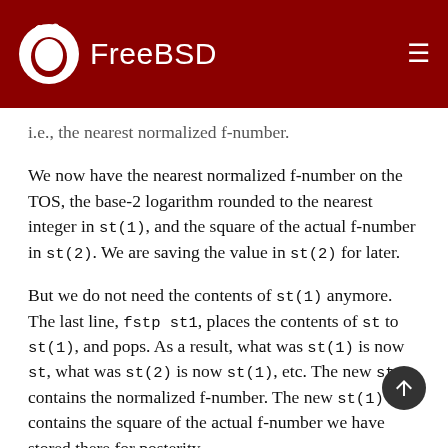FreeBSD
i.e., the nearest normalized f-number.
We now have the nearest normalized f-number on the TOS, the base-2 logarithm rounded to the nearest integer in st(1), and the square of the actual f-number in st(2). We are saving the value in st(2) for later.
But we do not need the contents of st(1) anymore. The last line, fstp st1, places the contents of st to st(1), and pops. As a result, what was st(1) is now st, what was st(2) is now st(1), etc. The new st contains the normalized f-number. The new st(1) contains the square of the actual f-number we have stored there for posterity.
At this point, we are ready to output the normalized number. Because it is normalized, we will not round it